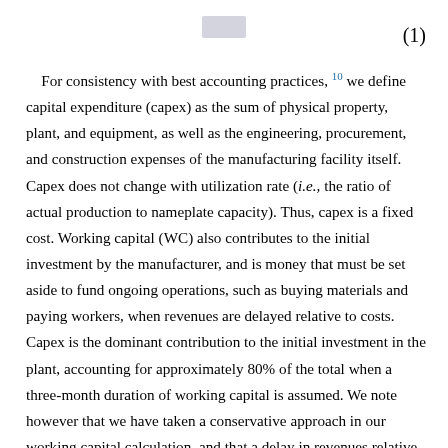(1)
For consistency with best accounting practices, 10 we define capital expenditure (capex) as the sum of physical property, plant, and equipment, as well as the engineering, procurement, and construction expenses of the manufacturing facility itself. Capex does not change with utilization rate (i.e., the ratio of actual production to nameplate capacity). Thus, capex is a fixed cost. Working capital (WC) also contributes to the initial investment by the manufacturer, and is money that must be set aside to fund ongoing operations, such as buying materials and paying workers, when revenues are delayed relative to costs. Capex is the dominant contribution to the initial investment in the plant, accounting for approximately 80% of the total when a three-month duration of working capital is assumed. We note however that we have taken a conservative approach in our working capital calculation, and that a delay in revenues relative to costs does not always occur.